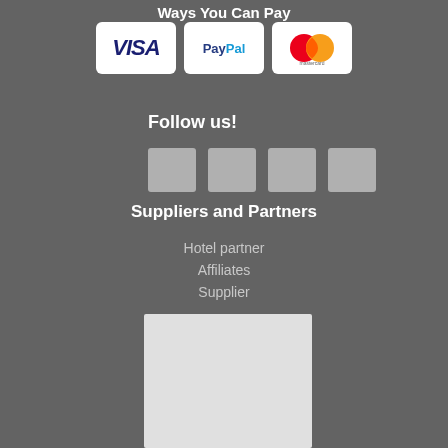Ways You Can Pay
[Figure (logo): Payment method logos: VISA, PayPal, Mastercard]
Follow us!
[Figure (other): Four social media icon placeholders (grey squares)]
Suppliers and Partners
Hotel partner
Affiliates
Supplier
[Figure (map): Map placeholder (light grey rectangle)]